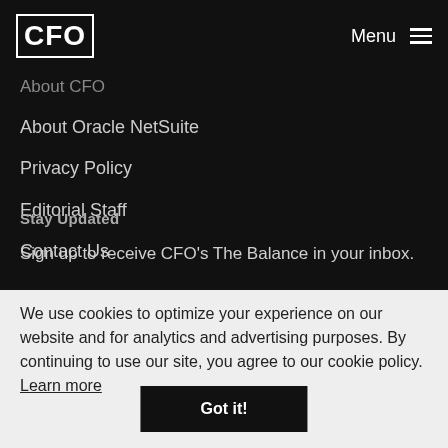CFO  Menu
About CFO
About Oracle NetSuite
Privacy Policy
Editorial Staff
Contact Us
Stay Updated
Sign up to receive CFO's The Balance in your inbox.
We use cookies to optimize your experience on our website and for analytics and advertising purposes. By continuing to use our site, you agree to our cookie policy. Learn more
Got it!